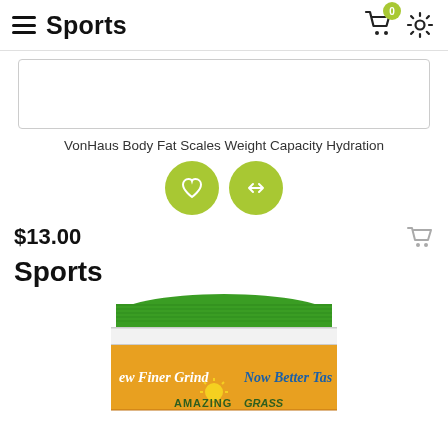Sports
[Figure (screenshot): Product image placeholder box with border]
VonHaus Body Fat Scales Weight Capacity Hydration
[Figure (infographic): Two circular green action buttons: heart/wishlist and compare arrows]
$13.00
Sports
[Figure (photo): Amazing Grass supplement container with green lid, white stripe, and orange label reading 'ew Finer Grind' and 'Now Better Tas' with Amazing Grass logo at bottom]